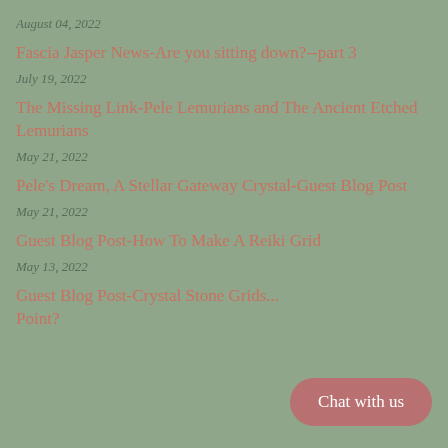August 04, 2022
Fascia Jasper News-Are you sitting down?--part 3
July 19, 2022
The Missing Link-Pele Lemurians and The Ancient Etched Lemurians
May 21, 2022
Pele's Dream, A Stellar Gateway Crystal-Guest Blog Post
May 21, 2022
Guest Blog Post-How To Make A Reiki Grid
May 13, 2022
Guest Blog Post-Crystal Stone Grids... Point?